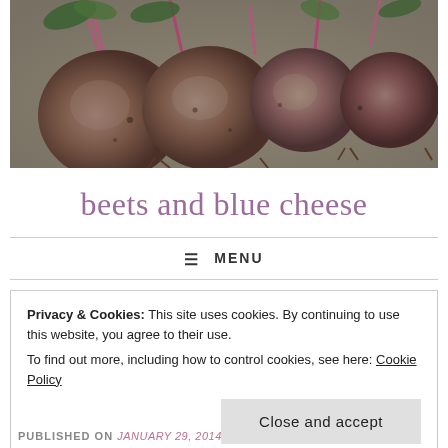[Figure (photo): Close-up photo of several raw beets with stems and roots on a stone surface]
beets and blue cheese
MENU
Privacy & Cookies: This site uses cookies. By continuing to use this website, you agree to their use.
To find out more, including how to control cookies, see here: Cookie Policy
Close and accept
PUBLISHED ON January 29, 2014